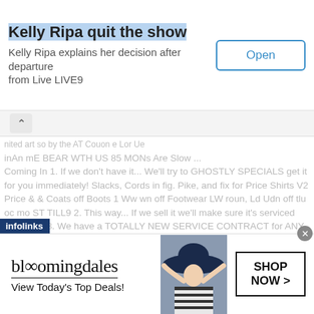[Figure (screenshot): Top advertisement banner: 'Kelly Ripa quit the show' with subtitle 'Kelly Ripa explains her decision after departure from Live LIVE9' and an 'Open' button]
inAn mE BEAR WTH US 85 MONs Are Slow Coming In 1. If we don't have it... We'll try to GHOSTLY SPECIALS get it for you immediately! Slacks, Cords in fig. Pike, and fix for Price Shirts V2 Price & & Coats off Boots 1 Ww wn off Footwear LW roun, Ld Udn off tlu oc mo ST TILL9 2. This way... If we sell it we'll make sure it's serviced properly! -3. We have a TOTALLY NEW SERVICE CONTRACT for ANY MAKE OR MODEL SOLD! 4. We RUSTPROOF any MAKE OR MODEL SOLD! 5. Our Technicians are Ford Trained 6. One of our Technicians, Dan Pfl'dmen attended one week of Hi Tech Computer School. 7. We want your business, and we'll try harder to get it! 8. Lease nOw! 9.75% APR... See Mel LEWIS COUNTY MOTOR CO. FORD-MERCURY Canton, Mo. / 1 Journal, Canton, Mo., Thursday, October 23
[Figure (screenshot): Bloomingdales advertisement banner at bottom: 'bloomingdales / View Today's Top Deals!' with photo of woman in hat and 'SHOP NOW >' button. Has infolinks bar overlay and close X button.]